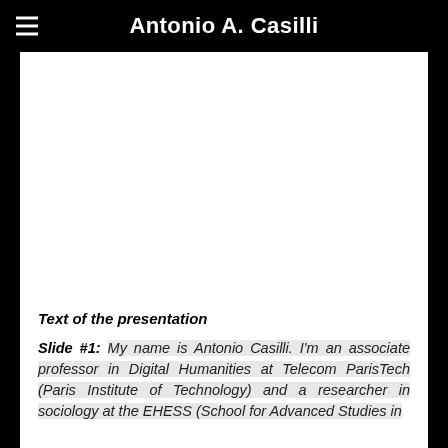Antonio A. Casilli
[Figure (other): Large blank white image area occupying the upper portion of the content section]
Text of the presentation
Slide #1: My name is Antonio Casilli. I'm an associate professor in Digital Humanities at Telecom ParisTech (Paris Institute of Technology) and a researcher in sociology at the EHESS (School for Advanced Studies in